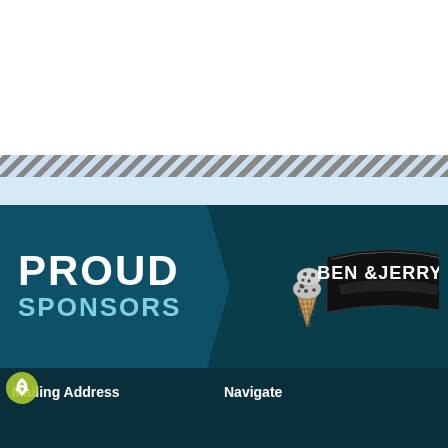[Figure (illustration): White top area of a webpage]
[Figure (illustration): Diagonal grey and light blue stripe decorative border bar]
PROUD SPONSORS
[Figure (logo): Ben & Jerry's ice cream logo with ice cream cone graphic]
Mailing Address
Navigate
We know finding time is hard. Sign up for ou